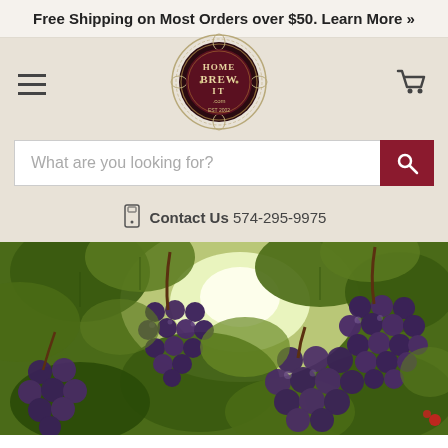Free Shipping on Most Orders over $50. Learn More »
[Figure (logo): HomeBrew It .com logo — circular badge with grape/wheat decorations, dark maroon center with text HOME BREW IT .com EST 2002]
[Figure (other): Search bar with placeholder text 'What are you looking for?' and a dark red search button with magnifying glass icon]
Contact Us 574-295-9975
[Figure (photo): Close-up photo of clusters of dark purple/blue wine grapes hanging from grapevines with lush green leaves, sunlight in background]